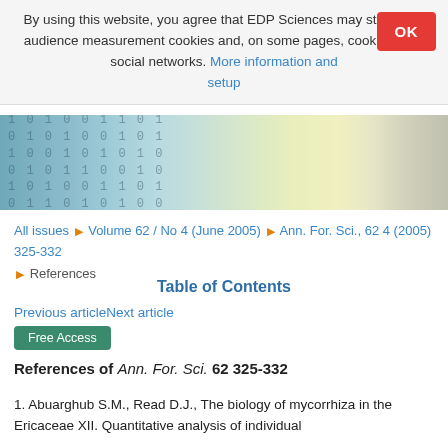By using this website, you agree that EDP Sciences may store web audience measurement cookies and, on some pages, cookies from social networks. More information and setup
[Figure (photo): Banner image with binary numbers overlay and book/document background in teal and beige tones]
All issues ▶ Volume 62 / No 4 (June 2005) ▶ Ann. For. Sci., 62 4 (2005) 325-332 ▶ References
Table of Contents
Previous articleNext article
Free Access
References of Ann. For. Sci. 62 325-332
1. Abuarghub S.M., Read D.J., The biology of mycorrhiza in the Ericaceae XII. Quantitative analysis of individual